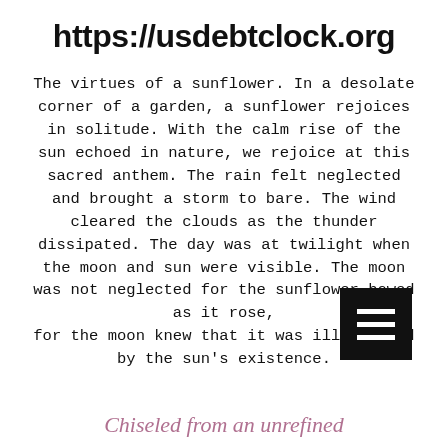https://usdebtclock.org
The virtues of a sunflower. In a desolate corner of a garden, a sunflower rejoices in solitude. With the calm rise of the sun echoed in nature, we rejoice at this sacred anthem. The rain felt neglected and brought a storm to bare. The wind cleared the clouds as the thunder dissipated. The day was at twilight when the moon and sun were visible. The moon was not neglected for the sunflower bowed as it rose,
for the moon knew that it was illuminated by the sun's existence.
[Figure (other): Black square button with three horizontal white lines (hamburger/menu icon)]
Chiseled from an unrefined